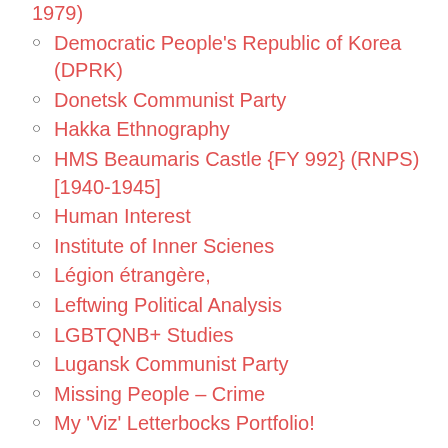1979)
Democratic People's Republic of Korea (DPRK)
Donetsk Communist Party
Hakka Ethnography
HMS Beaumaris Castle {FY 992} (RNPS) [1940-1945]
Human Interest
Institute of Inner Scienes
Légion étrangère,
Leftwing Political Analysis
LGBTQNB+ Studies
Lugansk Communist Party
Missing People – Crime
My 'Viz' Letterbocks Portfolio!